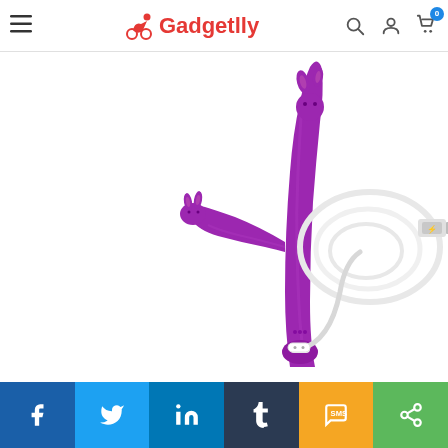Gadgetlly — navigation header with hamburger menu, logo, search, account, and cart icons
[Figure (photo): Product photo showing a purple rabbit-style vibrator next to a white USB charging cable coiled on a white background]
Social sharing buttons: Facebook, Twitter, LinkedIn, Tumblr, SMS, Share